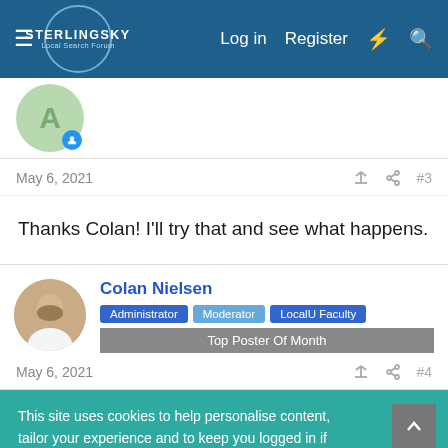STERLING SKY Local Search Forum — Log in | Register
[Figure (screenshot): Partial avatar of a user with green background and blue badge]
May 6, 2021  #3
Thanks Colan! I'll try that and see what happens.
Colan Nielsen
Administrator | Moderator | LocalU Faculty
Top Poster Of Month
May 6, 2021  #4
This site uses cookies to help personalise content, tailor your experience and to keep you logged in if you register.
By continuing to use this site, you are consenting to our use of cookies.